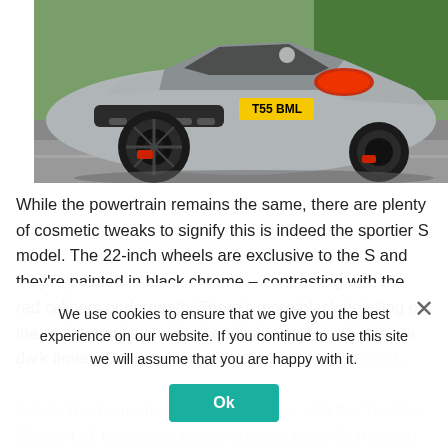[Figure (photo): Rear three-quarter view of a silver Bentley Continental GT S convertible with top down, driving on a road. License plate reads T55 BML. Black chrome wheels with red brake calipers visible.]
While the powertrain remains the same, there are plenty of cosmetic tweaks to signify this is indeed the sportier S model. The 22-inch wheels are exclusive to the S and they're painted in black chrome – contrasting with the red calipers underneath. There's more black detailing on the radiator grille and the headlights and rear lights are dark tinted. The quad tailpipes are also painted black.

Inside, there are more subtle changes, with the 'Bentley Motors Ltd' treadplate being replaced by an illuminated 'S' while the seats have also been given an 'S' emblem on the headrests.
We use cookies to ensure that we give you the best experience on our website. If you continue to use this site we will assume that you are happy with it.